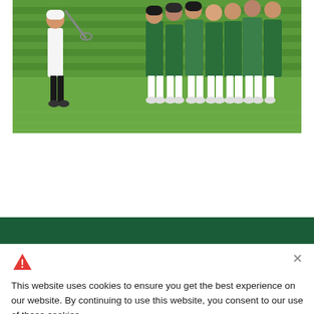[Figure (photo): Lacrosse players on a green grass field; players wearing green uniforms are grouped together while one player in white and black runs toward them from the left.]
This website uses cookies to ensure you get the best experience on our website. By continuing to use this website, you consent to our use of these cookies.